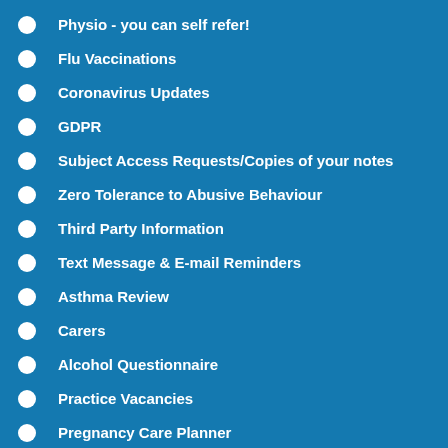Physio - you can self refer!
Flu Vaccinations
Coronavirus Updates
GDPR
Subject Access Requests/Copies of your notes
Zero Tolerance to Abusive Behaviour
Third Party Information
Text Message & E-mail Reminders
Asthma Review
Carers
Alcohol Questionnaire
Practice Vacancies
Pregnancy Care Planner
Summary Care Record
Practice Policies
In Times of Bereavement